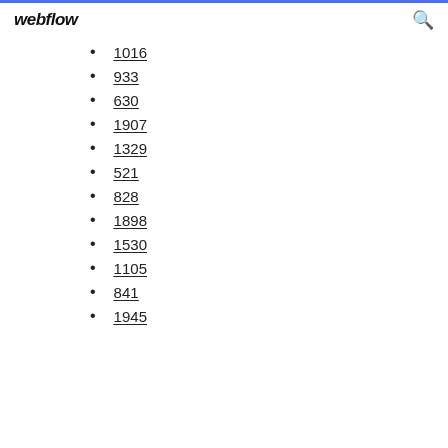webflow
1016
933
630
1907
1329
521
828
1898
1530
1105
841
1945